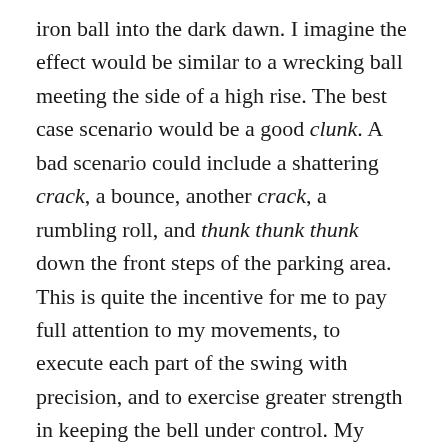iron ball into the dark dawn. I imagine the effect would be similar to a wrecking ball meeting the side of a high rise. The best case scenario would be a good clunk. A bad scenario could include a shattering crack, a bounce, another crack, a rumbling roll, and thunk thunk thunk down the front steps of the parking area. This is quite the incentive for me to pay full attention to my movements, to execute each part of the swing with precision, and to exercise greater strength in keeping the bell under control. My primary concern is to move in the best way possible. My secondary concern is exerting force. Both of these build strength, but I didn't pay as much attention to the movement when I was training midday with no